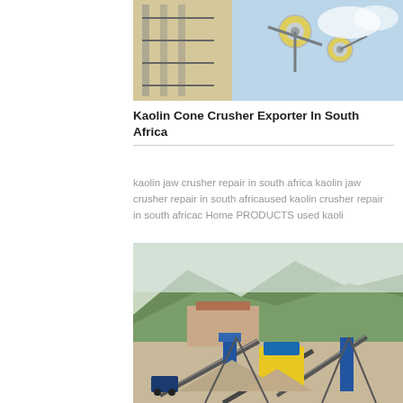[Figure (photo): Close-up photo of industrial machinery parts including yellow mechanical components and metal framework against a blue sky background]
Kaolin Cone Crusher Exporter In South Africa
kaolin jaw crusher repair in south africa kaolin jaw crusher repair in south africaused kaolin crusher repair in south africac Home PRODUCTS used kaoli
[Figure (photo): Outdoor photo of a quarry or mining plant with conveyor belts, yellow and blue machinery, gravel piles, mountains and green hills in the background]